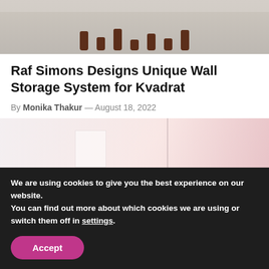[Figure (photo): Top portion of an image showing sculptural dark brown furniture legs arranged in a circle on a light concrete floor, cropped at the top of the page.]
Raf Simons Designs Unique Wall Storage System for Kvadrat
By Monika Thakur — August 18, 2022
[Figure (photo): Interior room photo showing large windows with soft pink/pinkish tones, partially blurred/faded, showing what appears to be a modern living or gallery space.]
We are using cookies to give you the best experience on our website.
You can find out more about which cookies we are using or switch them off in settings.